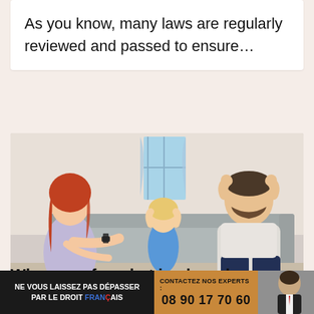As you know, many laws are regularly reviewed and passed to ensure…
[Figure (photo): Family conflict scene: a woman with red hair gesturing expressively toward a man sitting on a sofa with his head in his hands, while a young girl in a blue dress sits between them covering her ears]
Who pays for what in shared custody?
NE VOUS LAISSEZ PAS DÉPASSER PAR LE DROIT FRANÇAIS
CONTACTEZ NOS EXPERTS : 08 90 17 70 60